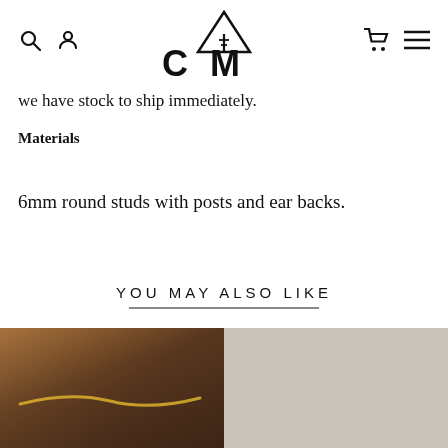[Figure (logo): CAM brand logo with triangle/mountain geometric symbol above the letters]
we have stock to ship immediately.
Materials
6mm round studs with posts and ear backs.
YOU MAY ALSO LIKE
[Figure (photo): Photo of a gold necklace/chain on a person with brown hair]
[Figure (photo): Photo with light grey/beige background, product image]